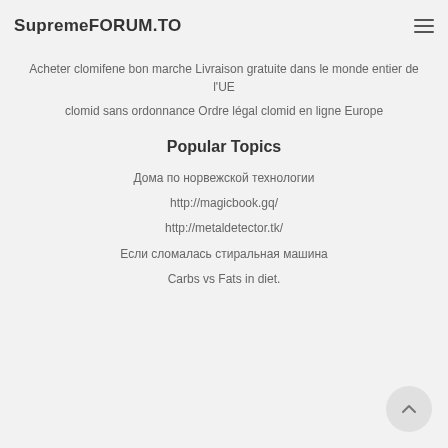SupremeFORUM.TO
Acheter clomifene bon marche Livraison gratuite dans le monde entier de l'UE
clomid sans ordonnance Ordre légal clomid en ligne Europe
Popular Topics
Дома по норвежской технологии
http://magicbook.gq/
http://metaldetector.tk/
Если сломалась стиральная машина
Carbs vs Fats in diet.